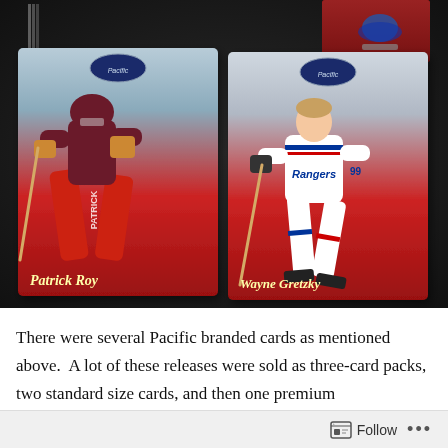[Figure (photo): Photo of two Pacific branded NHL trading cards laid on a dark leather surface. Left card shows Patrick Roy (Colorado Avalanche goalie) in red and blue uniform. Right card shows Wayne Gretzky (New York Rangers) in white uniform with 'Rangers' across chest. A small partial card is visible in the top right corner. Cards feature gradient backgrounds transitioning from light blue/grey at top to red at bottom, with player names in gold italic script at the bottom.]
There were several Pacific branded cards as mentioned above.  A lot of these releases were sold as three-card packs, two standard size cards, and then one premium
Follow ...